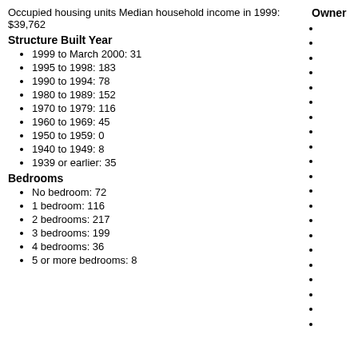Occupied housing units Median household income in 1999: $39,762
Structure Built Year
1999 to March 2000: 31
1995 to 1998: 183
1990 to 1994: 78
1980 to 1989: 152
1970 to 1979: 116
1960 to 1969: 45
1950 to 1959: 0
1940 to 1949: 8
1939 or earlier: 35
Bedrooms
No bedroom: 72
1 bedroom: 116
2 bedrooms: 217
3 bedrooms: 199
4 bedrooms: 36
5 or more bedrooms: 8
Owner